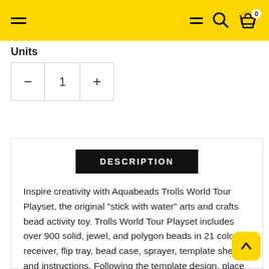Navigation header with hamburger menu, search, and cart icons on yellow background
Units
- 1 +
DESCRIPTION
Inspire creativity with Aquabeads Trolls World Tour Playset, the original "stick with water" arts and crafts bead activity toy. Trolls World Tour Playset includes over 900 solid, jewel, and polygon beads in 21 colors, receiver, flip tray, bead case, sprayer, template sheets, and instructions. Following the template design, place the beads onto the flip tray to create Queen Poppy, Branch, Queen Barb, and Biggie and